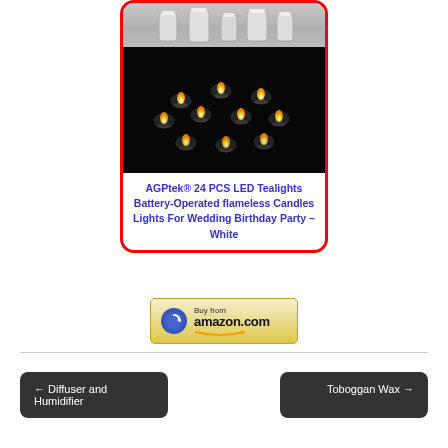[Figure (photo): Product card with red rounded border showing LED tealight candles — top portion shows white/gray candles on light background, bottom portion shows multiple glowing LED tealights on dark black background, arranged in a scattered pattern with reflections]
AGPtek® 24 PCS LED Tealights Battery-Operated flameless Candles Lights For Wedding Birthday Party – White
[Figure (logo): Buy from amazon.com button — yellow/gold gradient background with blue circular arrow icon on left, 'Buy from' text above 'amazon.com' with orange smile underline]
← Diffuser and Humidifier
Toboggan Wax →